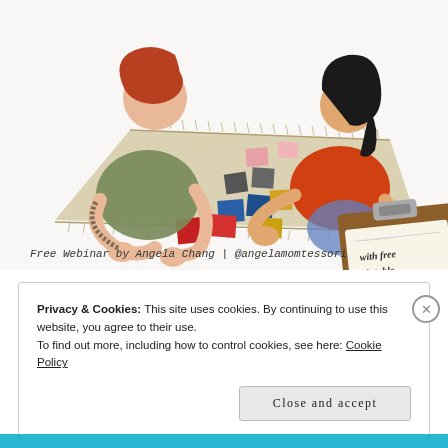[Figure (illustration): Illustration of an adult and child sitting on a rug playing with colored tiles/squares. A clipboard in the bottom right shows handwritten text 'with free printable Follow the Child Flowchart!'. Caption below reads: Free Webinar by Angela Chang | @angelamomtessori]
Free Webinar by Angela Chang | @angelamomtessori
Privacy & Cookies: This site uses cookies. By continuing to use this website, you agree to their use.
To find out more, including how to control cookies, see here: Cookie Policy
Close and accept